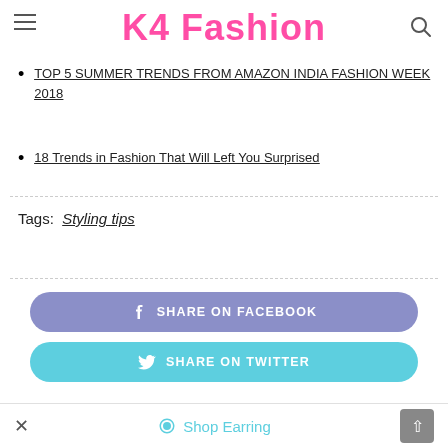K4 Fashion
TOP 5 SUMMER TRENDS FROM AMAZON INDIA FASHION WEEK 2018
18 Trends in Fashion That Will Left You Surprised
Tags:  Styling tips
SHARE ON FACEBOOK
SHARE ON TWITTER
Shop Earring